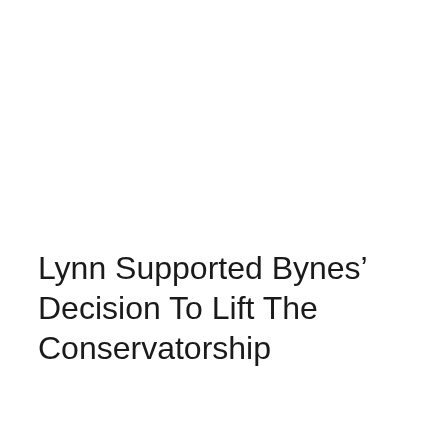Lynn Supported Bynes’ Decision To Lift The Conservatorship